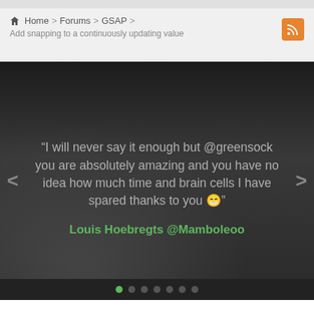Home > Forums > GSAP > Add snapping to a continuously updating value
[Figure (photo): Dark hero banner with people in background, showing a testimonial quote about @greensock with carousel navigation arrows and dot indicators]
“I will never say it enough but @greensock you are absolutely amazing and you have no idea how much time and brain cells I have spared thanks to you 😁”
Louis Hoebregts @Mamboleoo